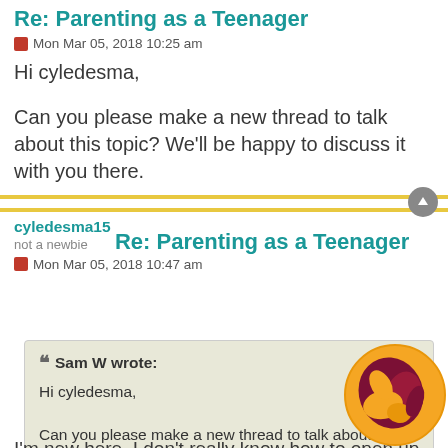Re: Parenting as a Teenager
Mon Mar 05, 2018 10:25 am
Hi cyledesma,
Can you please make a new thread to talk about this topic? We'll be happy to discuss it with you there.
cyledesma15
not a newbie
Re: Parenting as a Teenager
Mon Mar 05, 2018 10:47 am
Sam W wrote:
Hi cyledesma,

Can you please make a new thread to talk about this topic? We'll be happy to discuss it with you there.
I'm new here. I don't really know how to open up a new